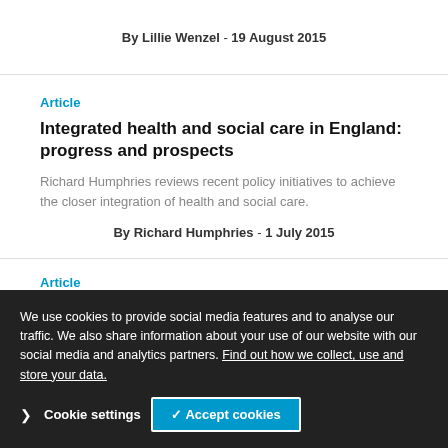By Lillie Wenzel - 19 August 2015
Article
Integrated health and social care in England: progress and prospects
Richard Humphries reviews recent policy initiatives to achieve the closer integration of health and social care.
By Richard Humphries - 1 July 2015
Article
We speak to Tim Kelsey, National Director of Patients and Information at NHS England, about his role and this summary
We use cookies to provide social media features and to analyse our traffic. We also share information about your use of our website with our social media and analytics partners. Find out how we collect, use and store your data.